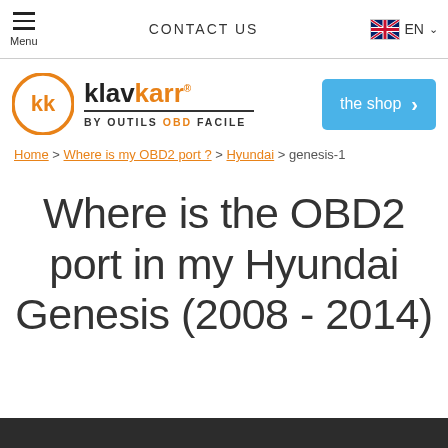Menu  CONTACT US  EN
[Figure (logo): Klavkarr logo with orange circle KK icon, text klavkarr BY OUTILS OBD FACILE, and blue shop button]
Home > Where is my OBD2 port? > Hyundai > genesis-1
Where is the OBD2 port in my Hyundai Genesis (2008 - 2014)